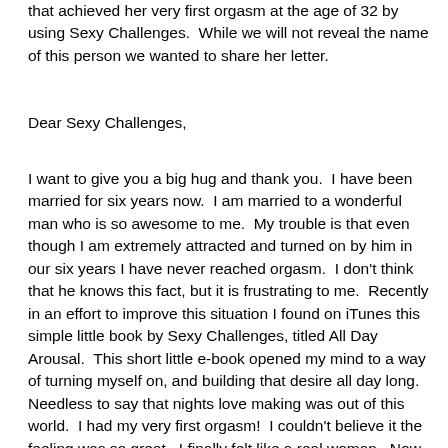that achieved her very first orgasm at the age of 32 by using Sexy Challenges.  While we will not reveal the name of this person we wanted to share her letter.
Dear Sexy Challenges,
I want to give you a big hug and thank you.  I have been married for six years now.  I am married to a wonderful man who is so awesome to me.  My trouble is that even though I am extremely attracted and turned on by him in our six years I have never reached orgasm.  I don't think that he knows this fact, but it is frustrating to me.  Recently in an effort to improve this situation I found on iTunes this simple little book by Sexy Challenges, titled All Day Arousal.  This short little e-book opened my mind to a way of turning myself on, and building that desire all day long.  Needless to say that nights love making was out of this world.  I had my very first orgasm!  I couldn't believe it the feeling was so great.  I finally felt like a real woman.  Now my husband is in heaven because I want sex a lot more often and I have had an orgasm each and every time since.  Finally I can feel the power of intimacy.  Thank you Sexy Challenges you have